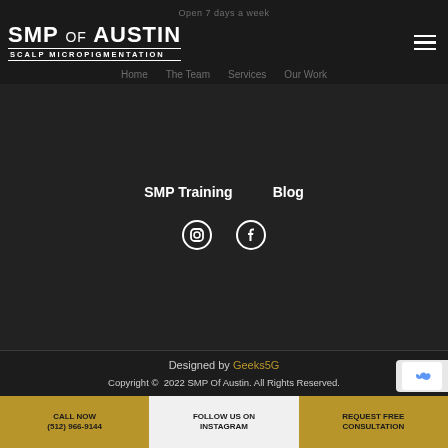Open 7 days a week
[Figure (logo): SMP of Austin Scalp Micropigmentation logo in white on dark background]
Home   The Team   Services   Our Work
SMP Training   Blog
[Figure (illustration): Instagram icon circle and Facebook icon circle]
Designed by Geeks5G
Copyright © 2022 SMP Of Austin. All Rights Reserved.
CALL NOW
(512) 966-9144
FOLLOW US ON INSTAGRAM
REQUEST FREE CONSULTATION